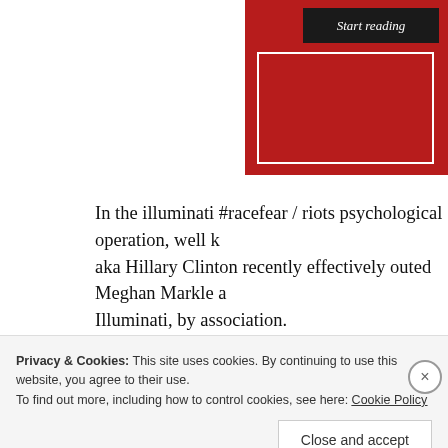[Figure (screenshot): Red banner with 'Start reading' button and white inner border box]
In the illuminati #racefear / riots psychological operation, well known aka Hillary Clinton recently effectively outed Meghan Markle a Illuminati, by association.
[Figure (screenshot): Tweet by Hillary Clinton (@HillaryClinton) with verified badge: 'Well said, Meghan. Thanks so much for experiences and speaking out.']
Privacy & Cookies: This site uses cookies. By continuing to use this website, you agree to their use. To find out more, including how to control cookies, see here: Cookie Policy
Close and accept